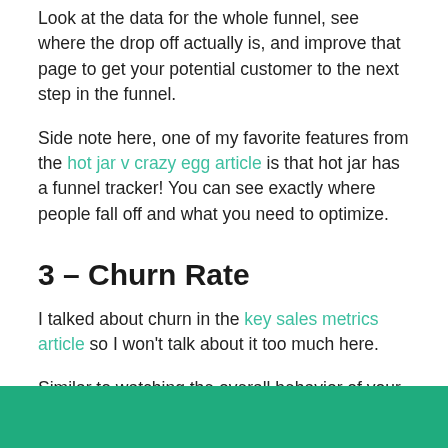Look at the data for the whole funnel, see where the drop off actually is, and improve that page to get your potential customer to the next step in the funnel.
Side note here, one of my favorite features from the hot jar v crazy egg article is that hot jar has a funnel tracker! You can see exactly where people fall off and what you need to optimize.
3 – Churn Rate
I talked about churn in the key sales metrics article so I won't talk about it too much here.
Similar to watching the overall behavior of your funnel, watch where your customers tend to fall out.
So if you see a high repeat customer rate of people that purchase within a month from their first purchase but there is a significant drop off of people that don't purchase